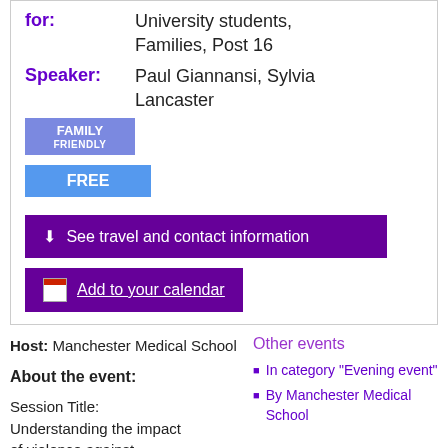for: University students, Families, Post 16
Speaker: Paul Giannansi, Sylvia Lancaster
FAMILY FRIENDLY
FREE
See travel and contact information
Add to your calendar
Host: Manchester Medical School
About the event:
Session Title: Understanding the impact of violence against vulnerable adults and
Other events
In category "Evening event"
By Manchester Medical School